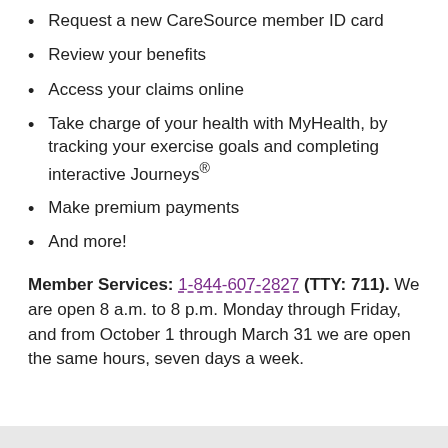Request a new CareSource member ID card
Review your benefits
Access your claims online
Take charge of your health with MyHealth, by tracking your exercise goals and completing interactive Journeys®
Make premium payments
And more!
Member Services: 1-844-607-2827 (TTY: 711). We are open 8 a.m. to 8 p.m. Monday through Friday, and from October 1 through March 31 we are open the same hours, seven days a week.